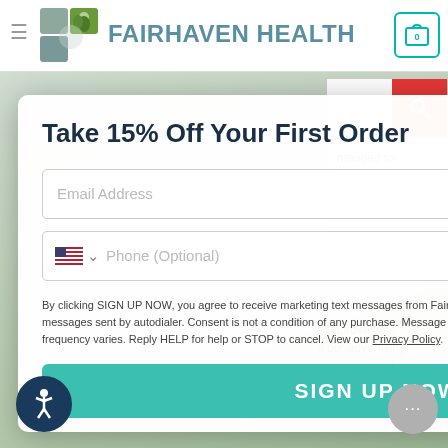[Figure (screenshot): Fairhaven Health website header with logo, hamburger menu, and cart icon showing 0 items]
Take 15% Off Your First Order
Email Address
Phone (Optional)
By clicking SIGN UP NOW, you agree to receive marketing text messages from Fairhaven Health at the number provided, including messages sent by autodialer. Consent is not a condition of any purchase. Message and data rates may apply. U.S. users only. Message frequency varies. Reply HELP for help or STOP to cancel. View our Privacy Policy.
SIGN UP NOW
ntended to
d improve your h our advertising ite, you accept our